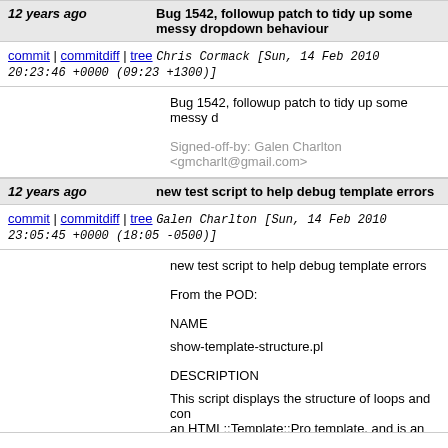12 years ago   Bug 1542, followup patch to tidy up some messy dropdown behaviour
commit | commitdiff | tree   Chris Cormack [Sun, 14 Feb 2010 20:23:46 +0000 (09:23 +1300)]
Bug 1542, followup patch to tidy up some messy d

Signed-off-by: Galen Charlton <gmcharlt@gmail.com>
12 years ago   new test script to help debug template errors
commit | commitdiff | tree   Galen Charlton [Sun, 14 Feb 2010 23:05:45 +0000 (18:05 -0500)]
new test script to help debug template errors

From the POD:

NAME

show-template-structure.pl

DESCRIPTION

This script displays the structure of loops and con... an HTML::Template::Pro template, and is an aid fo... reported by the xt/author/valid-templates.t test. It also identifies the